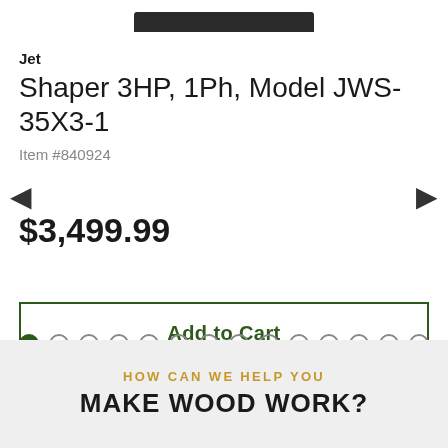[Figure (photo): Partial view of a Jet Shaper product image, showing bottom of dark-colored machine against white background]
Jet
Shaper 3HP, 1Ph, Model JWS-35X3-1
Item #840924
$3,499.99
Add to Cart
HOW CAN WE HELP YOU
MAKE WOOD WORK?